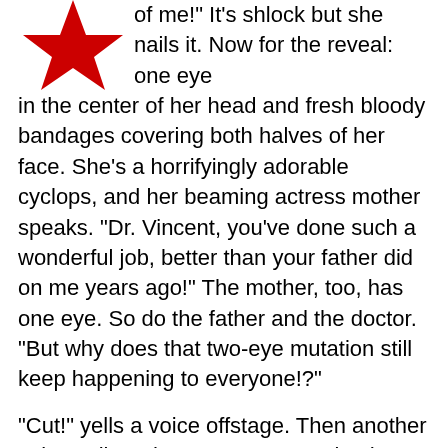[Figure (illustration): Red star shape in the upper left corner of the page]
of me!" It’s shlock but she nails it. Now for the reveal: one eye in the center of her head and fresh bloody bandages covering both halves of her face. She’s a horrifyingly adorable cyclops, and her beaming actress mother speaks. "Dr. Vincent, you’ve done such a wonderful job, better than your father did on me years ago!" The mother, too, has one eye. So do the father and the doctor. “But why does that two-eye mutation still keep happening to everyone!?"
"Cut!" yells a voice offstage. Then another voice yells, "That’s a wrap on Episode Eight. Thanks, everyone!!"
A set bell rings. The lights go up. The director, Tom Sanders, slaps the TV series’ creator on the back and says, "Another one in the can, Hollinger! Love the